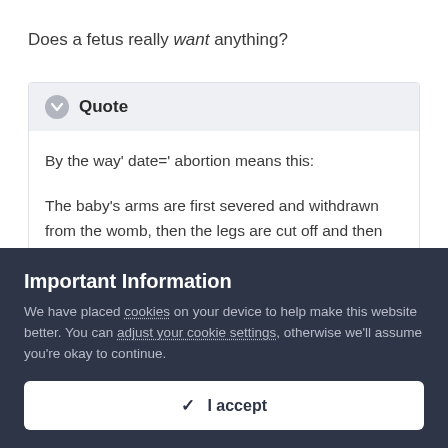Does a fetus really want anything?
Quote
By the way' date=' abortion means this:
The baby's arms are first severed and withdrawn from the womb, then the legs are cut off and then withdrawn, the head is cut off and withdrawn, the trunk is now small enough to be withdrawn. Each of the 'pieces' are dropped
Important Information
We have placed cookies on your device to help make this website better. You can adjust your cookie settings, otherwise we'll assume you're okay to continue.
✓ I accept